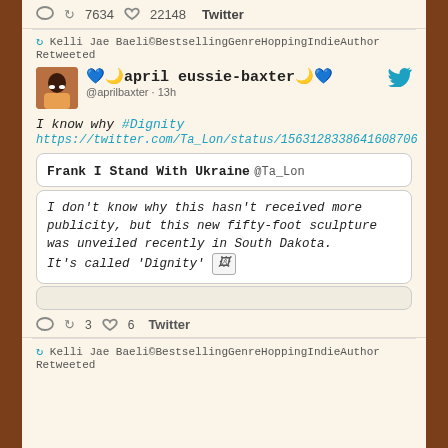7634 retweets · 22148 likes · Twitter
Kelli Jae Baeli©BestsellingGenreHoppingIndieAuthor Retweeted
💙🌙april eussie-baxter🌙💙 @aprilbaxter · 13h
I know why #Dignity
https://twitter.com/Ta_Lon/status/1563128338641608706
Frank I Stand With Ukraine @Ta_Lon
I don't know why this hasn't received more publicity, but this new fifty-foot sculpture was unveiled recently in South Dakota.
It's called 'Dignity' 🖼
3 retweets · 6 likes · Twitter
Kelli Jae Baeli©BestsellingGenreHoppingIndieAuthor Retweeted